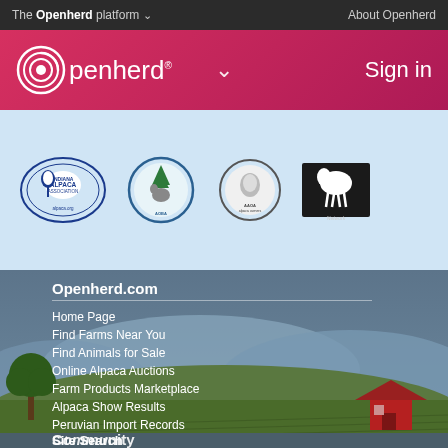The Openherd platform ∨   About Openherd
[Figure (logo): Openherd logo with circular target icon and white text on red/pink gradient header bar, with Sign in link]
[Figure (logo): Four alpaca association logos on light blue background: Alpaca Association, another organization, AAOA, and a Network logo]
Openherd.com
Home Page
Find Farms Near You
Find Animals for Sale
Online Alpaca Auctions
Farm Products Marketplace
Alpaca Show Results
Peruvian Import Records
Affiliate Network
Site Search
Community